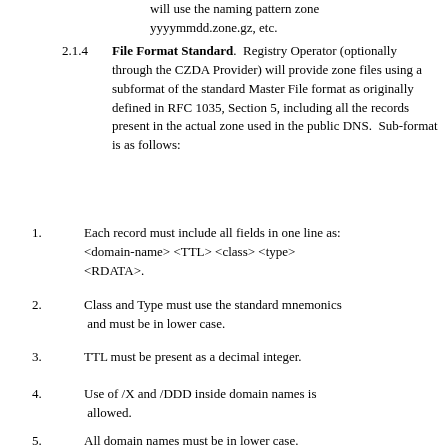will use the naming pattern zone yyyymmdd.zone.gz, etc.
2.1.4  File Format Standard.  Registry Operator (optionally through the CZDA Provider) will provide zone files using a subformat of the standard Master File format as originally defined in RFC 1035, Section 5, including all the records present in the actual zone used in the public DNS.  Sub-format is as follows:
1.  Each record must include all fields in one line as: <domain-name> <TTL> <class> <type> <RDATA>.
2.  Class and Type must use the standard mnemonics and must be in lower case.
3.  TTL must be present as a decimal integer.
4.  Use of /X and /DDD inside domain names is allowed.
5.  All domain names must be in lower case.
6.  More on the next document...